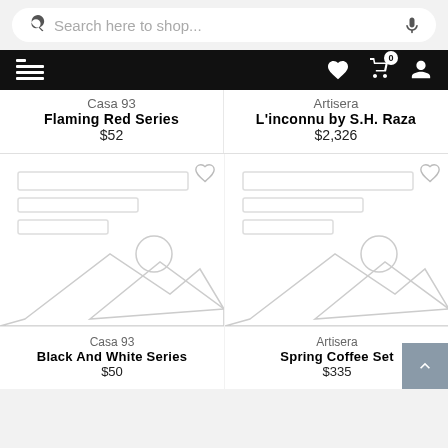Search here to shop...
[Figure (screenshot): Mobile app navigation bar with menu icon on left, and heart/cart/profile icons on right]
Casa 93
Flaming Red Series
$52
Artisera
L'inconnu by S.H. Raza
$2,326
[Figure (illustration): Product placeholder image for Casa 93 Black And White Series]
[Figure (illustration): Product placeholder image for Artisera Spring Coffee Set]
Casa 93
Black And White Series
$50
Artisera
Spring Coffee Set
$335